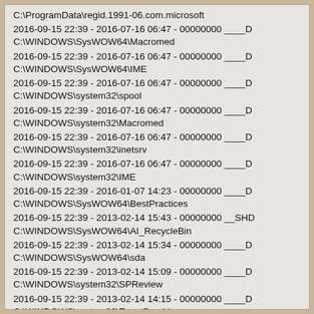C:\ProgramData\regid.1991-06.com.microsoft
2016-09-15 22:39 - 2016-07-16 06:47 - 00000000 ____D C:\WINDOWS\SysWOW64\Macromed
2016-09-15 22:39 - 2016-07-16 06:47 - 00000000 ____D C:\WINDOWS\SysWOW64\IME
2016-09-15 22:39 - 2016-07-16 06:47 - 00000000 ____D C:\WINDOWS\system32\spool
2016-09-15 22:39 - 2016-07-16 06:47 - 00000000 ____D C:\WINDOWS\system32\Macromed
2016-09-15 22:39 - 2016-07-16 06:47 - 00000000 ____D C:\WINDOWS\system32\inetsrv
2016-09-15 22:39 - 2016-07-16 06:47 - 00000000 ____D C:\WINDOWS\system32\IME
2016-09-15 22:39 - 2016-01-07 14:23 - 00000000 ____D C:\WINDOWS\SysWOW64\BestPractices
2016-09-15 22:39 - 2013-02-14 15:43 - 00000000 __SHD C:\WINDOWS\SysWOW64\AI_RecycleBin
2016-09-15 22:39 - 2013-02-14 15:34 - 00000000 ____D C:\WINDOWS\SysWOW64\sda
2016-09-15 22:39 - 2013-02-14 15:09 - 00000000 ____D C:\WINDOWS\system32\SPReview
2016-09-15 22:39 - 2013-02-14 14:15 - 00000000 ____D C:\WINDOWS\system32\EventProviders